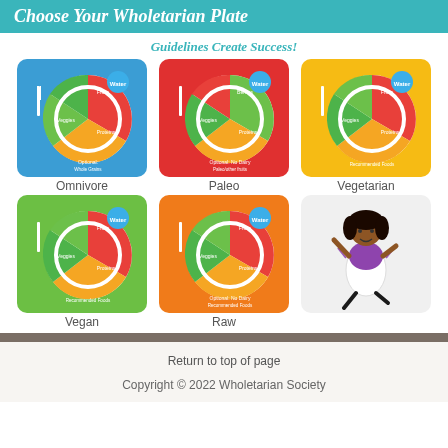Choose Your Wholetarian Plate
Guidelines Create Success!
[Figure (infographic): Six wholetarian plate diagrams: Omnivore (blue background), Paleo (red background), Vegetarian (yellow background), Vegan (green background), Raw (orange background), plus a photo of a jumping girl in an apron]
Return to top of page
Copyright © 2022 Wholetarian Society